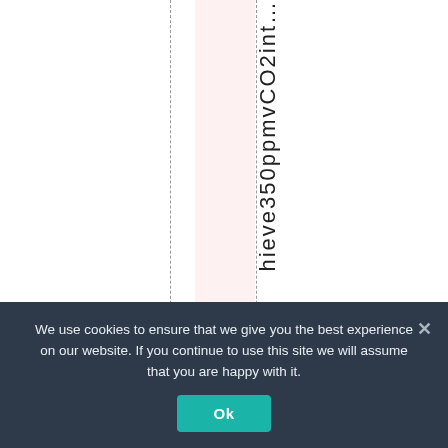[Figure (other): A data table or chart fragment showing vertical columns separated by dashed lines, with a pink-highlighted column band and rotated text reading 'hieve350ppmvCO2int...' along a column axis, likely part of a scientific chart or table header about achieving 350 ppm CO2 concentration.]
We use cookies to ensure that we give you the best experience on our website. If you continue to use this site we will assume that you are happy with it. Ok